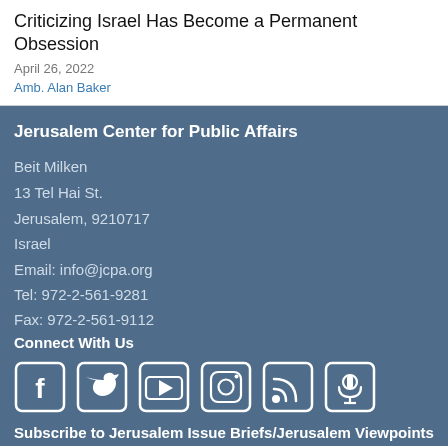Criticizing Israel Has Become a Permanent Obsession
April 26, 2022
Amb. Alan Baker
Jerusalem Center for Public Affairs
Beit Milken
13 Tel Hai St.
Jerusalem, 9210717
Israel
Email: info@jcpa.org
Tel: 972-2-561-9281
Fax: 972-2-561-9112
Connect With Us
[Figure (illustration): Social media icons: Facebook, Twitter, YouTube, Instagram, RSS, Podcast]
Subscribe to Jerusalem Issue Briefs/Jerusalem Viewpoints